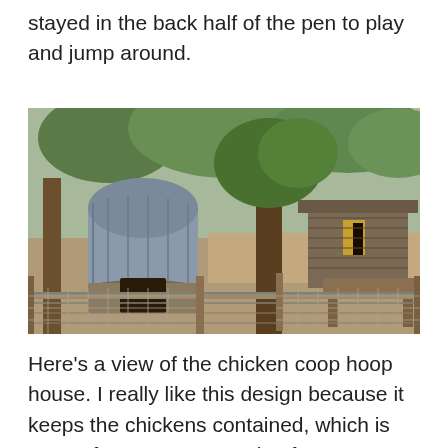stayed in the back half of the pen to play and jump around.
[Figure (photo): Outdoor view of a chicken coop area with a metal quonset hut/hoop house structure on the left, a wooden shed with a tree in the middle, and a raised wooden platform on the right. The area is enclosed by wire fencing in the foreground and set among trees.]
Here’s a view of the chicken coop hoop house. I really like this design because it keeps the chickens contained, which is my preference compared to free